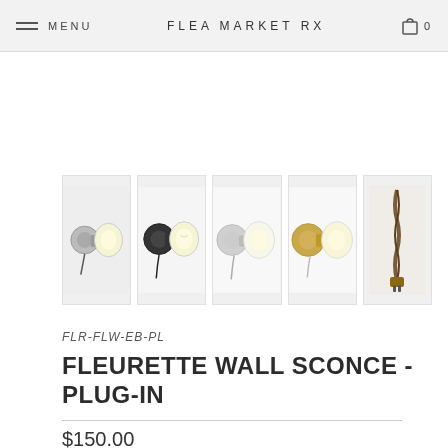MENU   FLEA MARKET RX   0
[Figure (photo): Row of five thumbnail images of the Fleurette Wall Sconce in various finishes: dark/pewter with coiled wire, black with dangling cord, silver/chrome, brass/gold, and a close-up of the braided cord and plug.]
FLR-FLW-EB-PL
FLEURETTE WALL SCONCE - PLUG-IN
$150.00